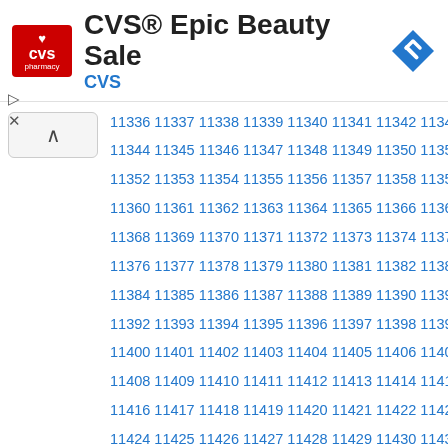CVS® Epic Beauty Sale — CVS
11336 11337 11338 11339 11340 11341 11342 11343 11344 11345 11346 11347 11348 11349 11350 11351 11352 11353 11354 11355 11356 11357 11358 11359 11360 11361 11362 11363 11364 11365 11366 11367 11368 11369 11370 11371 11372 11373 11374 11375 11376 11377 11378 11379 11380 11381 11382 11383 11384 11385 11386 11387 11388 11389 11390 11391 11392 11393 11394 11395 11396 11397 11398 11399 11400 11401 11402 11403 11404 11405 11406 11407 11408 11409 11410 11411 11412 11413 11414 11415 11416 11417 11418 11419 11420 11421 11422 11423 11424 11425 11426 11427 11428 11429 11430 11431 11432 11433 11434 11435 11436 11437 11438 11439 11440 11441 11442 11443 11444 11445 11446 11447 11448 11449 11450 11451 11452 11453 11454 11455 11456 11457 11458 11459 11460 11461 11462 11463 11464 11465 11466 11467 11468 11469 11470 11471 11472 11473 11474 11475 11476 11477 11478 11479